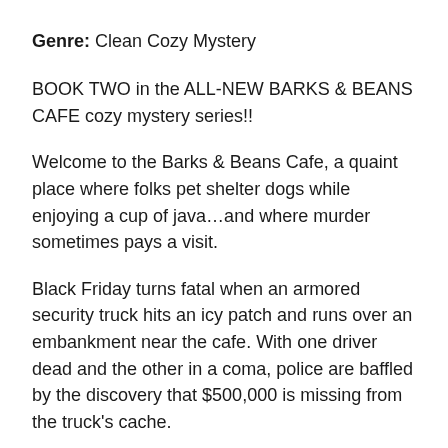Genre: Clean Cozy Mystery
BOOK TWO in the ALL-NEW BARKS & BEANS CAFE cozy mystery series!!
Welcome to the Barks & Beans Cafe, a quaint place where folks pet shelter dogs while enjoying a cup of java…and where murder sometimes pays a visit.
Black Friday turns fatal when an armored security truck hits an icy patch and runs over an embankment near the cafe. With one driver dead and the other in a coma, police are baffled by the discovery that $500,000 is missing from the truck's cache.
When strangers show up at Barks & Beans asking nosy questions about a young cafe employee, Macy's mama